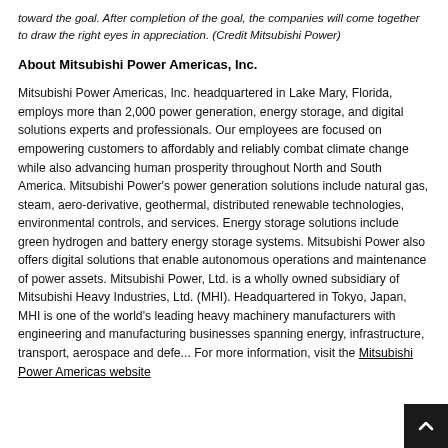toward the goal. After completion of the goal, the companies will come together to draw the right eyes in appreciation. (Credit Mitsubishi Power)
About Mitsubishi Power Americas, Inc.
Mitsubishi Power Americas, Inc. headquartered in Lake Mary, Florida, employs more than 2,000 power generation, energy storage, and digital solutions experts and professionals. Our employees are focused on empowering customers to affordably and reliably combat climate change while also advancing human prosperity throughout North and South America. Mitsubishi Power's power generation solutions include natural gas, steam, aero-derivative, geothermal, distributed renewable technologies, environmental controls, and services. Energy storage solutions include green hydrogen and battery energy storage systems. Mitsubishi Power also offers digital solutions that enable autonomous operations and maintenance of power assets. Mitsubishi Power, Ltd. is a wholly owned subsidiary of Mitsubishi Heavy Industries, Ltd. (MHI). Headquartered in Tokyo, Japan, MHI is one of the world's leading heavy machinery manufacturers with engineering and manufacturing businesses spanning energy, infrastructure, transport, aerospace and defe... For more information, visit the Mitsubishi Power Americas website